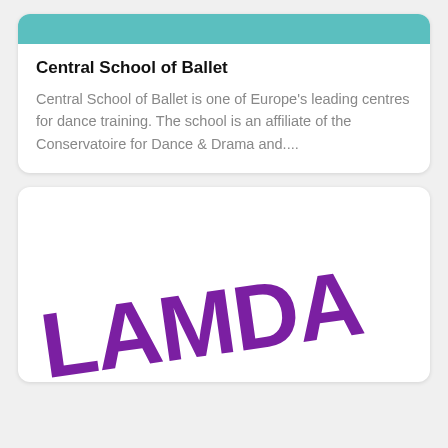[Figure (other): Teal/turquoise colored banner at top of card]
Central School of Ballet
Central School of Ballet is one of Europe’s leading centres for dance training. The school is an affiliate of the Conservatoire for Dance & Drama and....
[Figure (logo): LAMDA logo in large bold purple italic text on white card background]